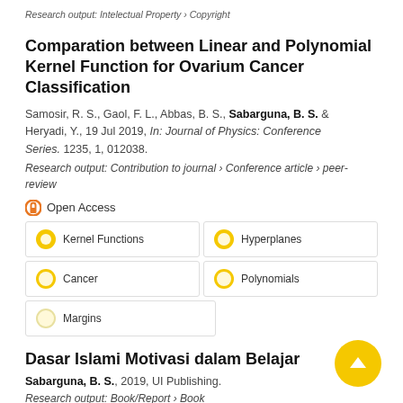Research output: Intelectual Property › Copyright
Comparation between Linear and Polynomial Kernel Function for Ovarium Cancer Classification
Samosir, R. S., Gaol, F. L., Abbas, B. S., Sabarguna, B. S. & Heryadi, Y., 19 Jul 2019, In: Journal of Physics: Conference Series. 1235, 1, 012038.
Research output: Contribution to journal › Conference article › peer-review
Open Access
Kernel Functions
Hyperplanes
Cancer
Polynomials
Margins
Dasar Islami Motivasi dalam Belajar
Sabarguna, B. S., 2019, UI Publishing.
Research output: Book/Report › Book